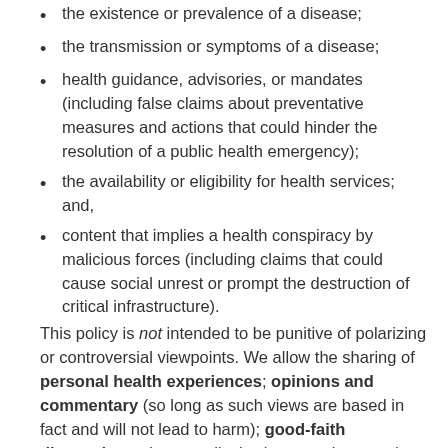the existence or prevalence of a disease;
the transmission or symptoms of a disease;
health guidance, advisories, or mandates (including false claims about preventative measures and actions that could hinder the resolution of a public health emergency);
the availability or eligibility for health services; and,
content that implies a health conspiracy by malicious forces (including claims that could cause social unrest or prompt the destruction of critical infrastructure).
This policy is not intended to be punitive of polarizing or controversial viewpoints. We allow the sharing of personal health experiences; opinions and commentary (so long as such views are based in fact and will not lead to harm); good-faith discussions about medical science and research; content intended to condemn or debunk health